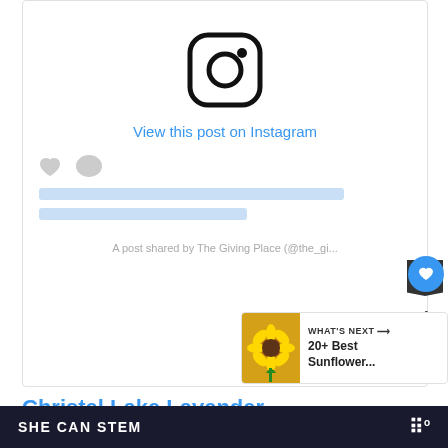[Figure (screenshot): Instagram embed card with Instagram logo, 'View this post on Instagram' link, placeholder action icons (heart and comment), placeholder text lines, and attribution text 'A post shared by The Giving Place (@the_gi...']
[Figure (infographic): Floating like/bookmark buttons and share button on the right side with count '4']
[Figure (infographic): WHAT'S NEXT widget showing sunflower image thumbnail and text '20+ Best Sunflower...']
Christel Lake Lavender...
SHE CAN STEM